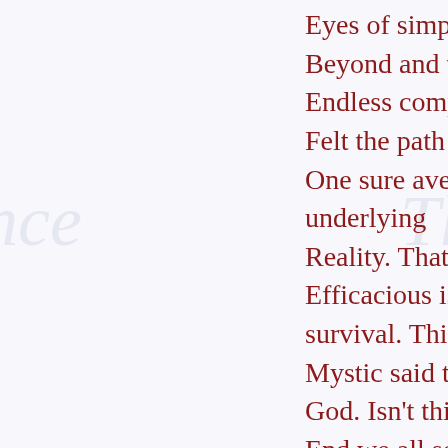Eyes of simplicity, for they see
Beyond and take command of the
Endless complexities of life. This man
Felt the path of love to be the
One sure avenue of approach to underlying
Reality. That His teachings are
Efficacious is spoken to by their survival. This scientist-
Mystic said the pure in heart will see God. Isn't this the
End we all seek, whatever name we choose to use?
I am sure it is. God or Source,
Father/Mother or Creator,
Named or Nameless; it matters not.

This is the path I offer then, the path of the
Heart, or love, for your
Earnest consideration. Thus far you have found only
Promise unfulfilled, you say -- and is it not a scientific
Rule that one should